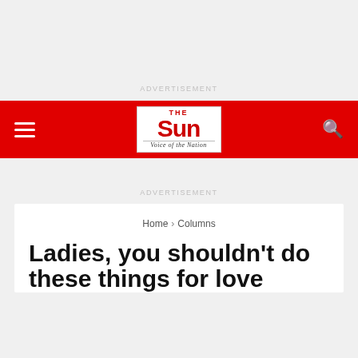ADVERTISEMENT
The Sun — Voice of the Nation
ADVERTISEMENT
Home > Columns
Ladies, you shouldn't do these things for love